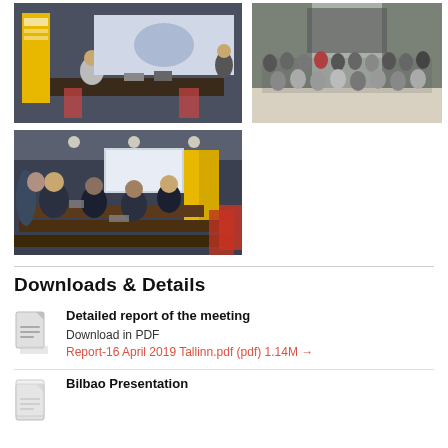[Figure (photo): Conference room with presenter at a table, yellow banner on left, projection screen showing Europe map in background]
[Figure (photo): Group photo of approximately 30 conference attendees standing in a large room]
[Figure (photo): Conference meeting room with attendees seated at tables, yellow banners and projection screen visible]
Downloads & Details
Detailed report of the meeting
Download in PDF
Report-16 April 2019 Tallinn.pdf (pdf) 1.14M →
Bilbao Presentation